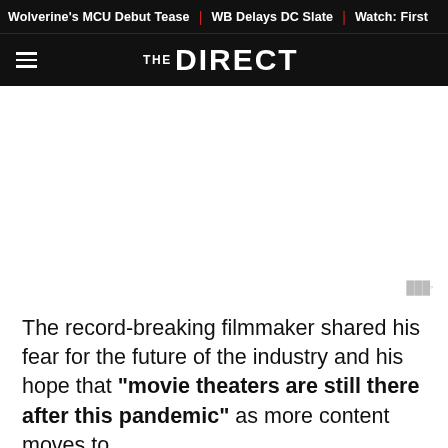Wolverine's MCU Debut Tease | WB Delays DC Slate | Watch: First
THE DIRECT
[Figure (other): Advertisement placeholder area with ad indicator badge showing three dots and superscript symbol]
The record-breaking filmmaker shared his fear for the future of the industry and his hope that "movie theaters are still there after this pandemic" as more content moves to